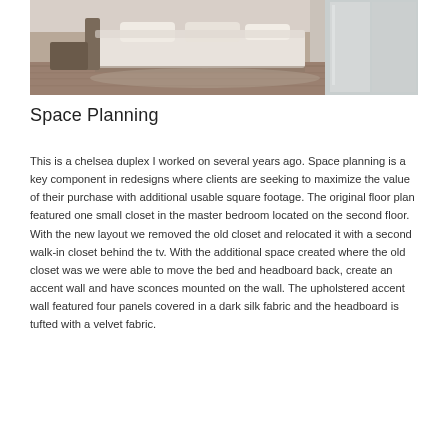[Figure (photo): A bedroom with a bed covered in white/cream linens, wooden floors, and a mirrored wardrobe or closet on the right side. The room appears bright and minimalist.]
Space Planning
This is a chelsea duplex I worked on several years ago. Space planning is a key component in redesigns where clients are seeking to maximize the value of their purchase with additional usable square footage. The original floor plan featured one small closet in the master bedroom located on the second floor. With the new layout we removed the old closet and relocated it with a second walk-in closet behind the tv. With the additional space created where the old closet was we were able to move the bed and headboard back, create an accent wall and have sconces mounted on the wall. The upholstered accent wall featured four panels covered in a dark silk fabric and the headboard is tufted with a velvet fabric.